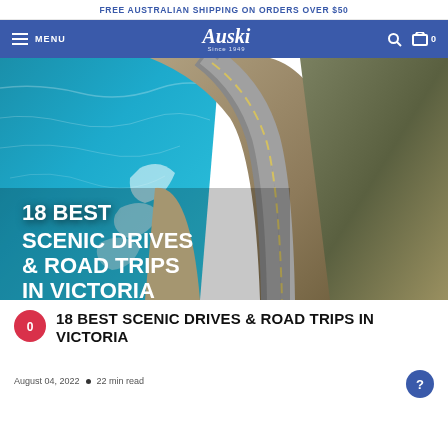FREE AUSTRALIAN SHIPPING ON ORDERS OVER $50
[Figure (logo): Auski Since 1949 navigation bar with hamburger menu, search icon and cart]
[Figure (photo): Aerial view of a coastal road winding along cliffs with ocean waves, overlaid with bold white text: 18 BEST SCENIC DRIVES & ROAD TRIPS IN VICTORIA]
18 BEST SCENIC DRIVES & ROAD TRIPS IN VICTORIA
August 04, 2022  •  22 min read